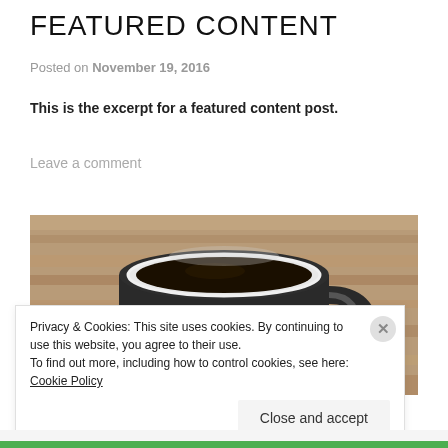FEATURED CONTENT
Posted on November 19, 2016
This is the excerpt for a featured content post.
Leave a comment
[Figure (photo): Close-up photo of a white enamel mug filled with black coffee, placed on a wooden surface.]
Privacy & Cookies: This site uses cookies. By continuing to use this website, you agree to their use.
To find out more, including how to control cookies, see here: Cookie Policy
Close and accept